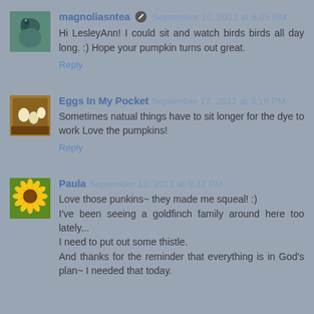magnoliasntea · September 16, 2012 at 6:05 PM
Hi LesleyAnn! I could sit and watch birds birds all day long. :) Hope your pumpkin turns out great.
Reply
Eggs In My Pocket September 17, 2012 at 3:19 PM
Sometimes natual things have to sit longer for the dye to work Love the pumpkins!
Reply
Paula September 18, 2012 at 9:32 PM
Love those punkins~ they made me squeal! :)
I've been seeing a goldfinch family around here too lately...
I need to put out some thistle.
And thanks for the reminder that everything is in God's plan~ I needed that today.